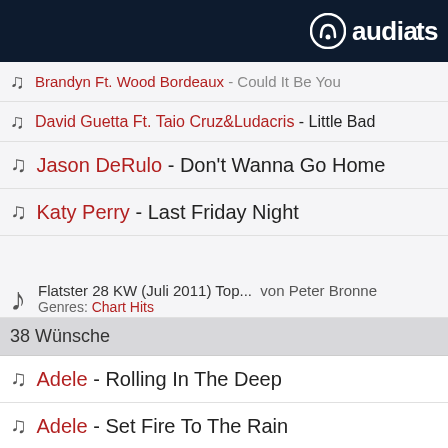audiarts
Brandyn Ft. Wood Bordeaux - Could It Be You
David Guetta Ft. Taio Cruz&Ludacris - Little Bad
Jason DeRulo - Don't Wanna Go Home
Katy Perry - Last Friday Night
Flatster 28 KW (Juli 2011) Top... von Peter Bronne
Genres: Chart Hits
38 Wünsche
Adele - Rolling In The Deep
Adele - Set Fire To The Rain
ALEXANDRA STAN - Mr Saxobeat (Radio Edit)